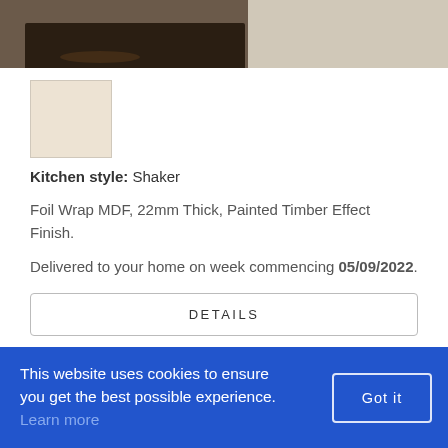[Figure (photo): Partial view of a dark wood dining table with chairs in a modern kitchen/dining room setting, cropped at top of page]
[Figure (other): Cream/beige color swatch square showing the finish color option]
Kitchen style: Shaker
Foil Wrap MDF, 22mm Thick, Painted Timber Effect Finish.
Delivered to your home on week commencing 05/09/2022.
DETAILS
This website uses cookies to ensure you get the best possible experience. Learn more
Got it